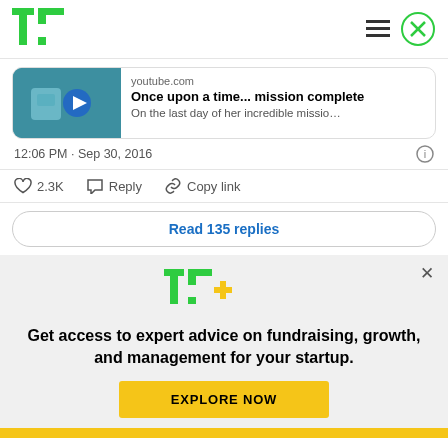TechCrunch (TC) logo and navigation icons
[Figure (screenshot): YouTube video preview card showing animated character with play button, title 'Once upon a time... mission complete', source 'youtube.com', description 'On the last day of her incredible missio...']
12:06 PM · Sep 30, 2016
2.3K  Reply  Copy link
Read 135 replies
[Figure (logo): TC+ logo (TechCrunch Plus) in green and yellow]
Get access to expert advice on fundraising, growth, and management for your startup.
EXPLORE NOW